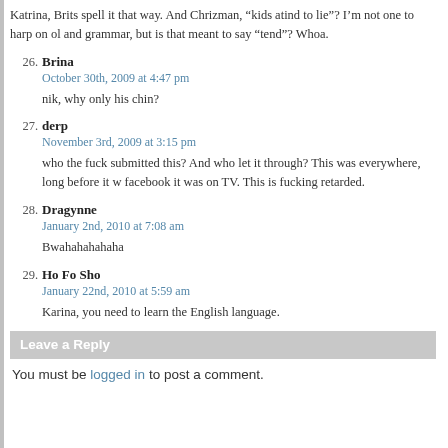Katrina, Brits spell it that way. And Chrizman, “kids atind to lie”? I’m not one to harp on old and grammar, but is that meant to say “tend”? Whoa.
26. Brina
October 30th, 2009 at 4:47 pm
nik, why only his chin?
27. derp
November 3rd, 2009 at 3:15 pm
who the fuck submitted this? And who let it through? This was everywhere, long before it w facebook it was on TV. This is fucking retarded.
28. Dragynne
January 2nd, 2010 at 7:08 am
Bwahahahahaha
29. Ho Fo Sho
January 22nd, 2010 at 5:59 am
Karina, you need to learn the English language.
Leave a Reply
You must be logged in to post a comment.